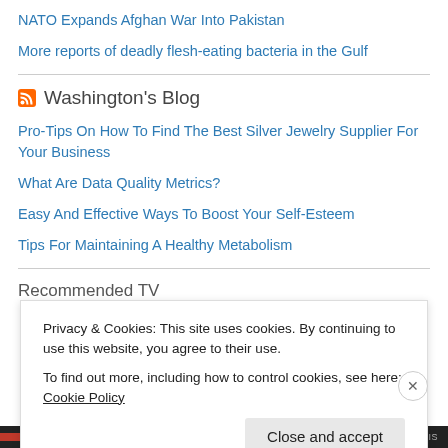NATO Expands Afghan War Into Pakistan
More reports of deadly flesh-eating bacteria in the Gulf
Washington's Blog
Pro-Tips On How To Find The Best Silver Jewelry Supplier For Your Business
What Are Data Quality Metrics?
Easy And Effective Ways To Boost Your Self-Esteem
Tips For Maintaining A Healthy Metabolism
Privacy & Cookies: This site uses cookies. By continuing to use this website, you agree to their use.
To find out more, including how to control cookies, see here: Cookie Policy